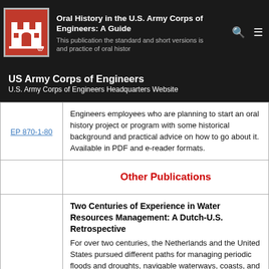Oral History in the U.S. Army Corps of Engineers: A Guide
US Army Corps of Engineers
U.S. Army Corps of Engineers Headquarters Website
|  |  |
| --- | --- |
| EP 870-1-80 | Engineers employees who are planning to start an oral history project or program with some historical background and practical advice on how to go about it. Available in PDF and e-reader formats. |
|  | Other Publications |
|  | Two Centuries of Experience in Water Resources Management: A Dutch-U.S. Retrospective
For over two centuries, the Netherlands and the United States pursued different paths for managing periodic floods and droughts, navigable waterways, coasts, and environments. That accumulated experience represents a rich record of technological achievement and innovation, and |